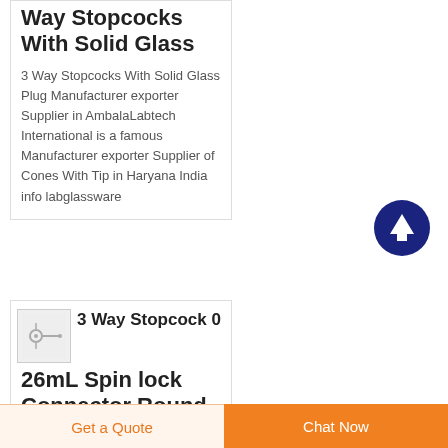Way Stopcocks With Solid Glass
3 Way Stopcocks With Solid Glass Plug Manufacturer exporter Supplier in AmbalaLabtech International is a famous Manufacturer exporter Supplier of Cones With Tip in Haryana India info labglassware
[Figure (illustration): Dark blue circle button with white upward arrow icon (scroll to top button)]
3 Way Stopcock 0 26mL Spin lock Connector Round
[Figure (photo): Small thumbnail image of a stopcock product, grey/white tones]
Get a Quote  Chat Now